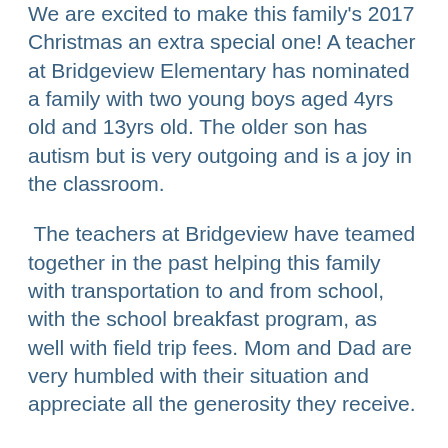We are excited to make this family's 2017 Christmas an extra special one! A teacher at Bridgeview Elementary has nominated a family with two young boys aged 4yrs old and 13yrs old. The older son has autism but is very outgoing and is a joy in the classroom.
The teachers at Bridgeview have teamed together in the past helping this family with transportation to and from school, with the school breakfast program, as well with field trip fees. Mom and Dad are very humbled with their situation and appreciate all the generosity they receive.